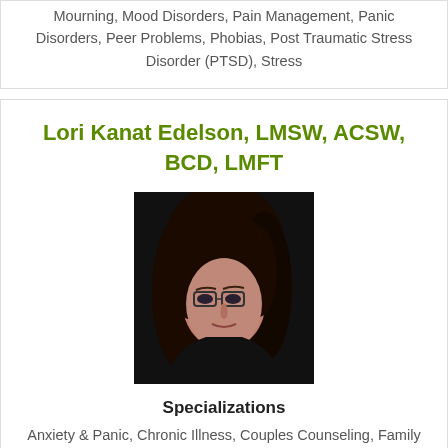Mourning, Mood Disorders, Pain Management, Panic Disorders, Peer Problems, Phobias, Post Traumatic Stress Disorder (PTSD), Stress
Lori Kanat Edelson, LMSW, ACSW, BCD, LMFT
[Figure (photo): Professional headshot of Lori Kanat Edelson, a woman with dark hair and glasses wearing a black top, against a dark background.]
Specializations
Anxiety & Panic, Chronic Illness, Couples Counseling, Family Issues, Gender Orientation Issues, LGBTQA, Mood Disorders